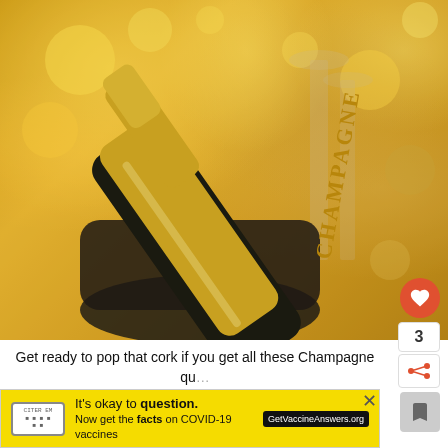[Figure (photo): A champagne bottle labeled 'CHAMPAGNE' and 'Produce of France' resting in an ice bucket, with champagne flutes in the blurred background and golden bokeh lights]
Get ready to pop that cork if you get all these Champagne qu... questions correct!
[Figure (infographic): Yellow advertisement banner: 'It's okay to question. Now get the facts on COVID-19 vaccines' with GetVaccineAnswers.org button and a close X button]